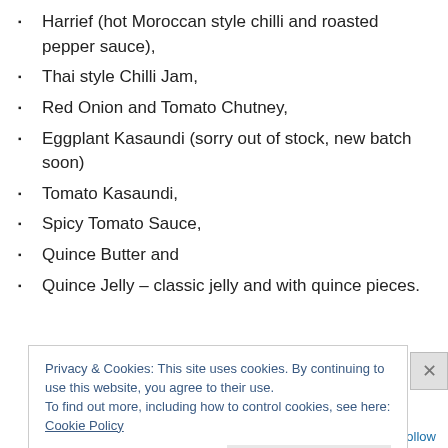Harrief (hot Moroccan style chilli and roasted pepper sauce),
Thai style Chilli Jam,
Red Onion and Tomato Chutney,
Eggplant Kasaundi (sorry out of stock, new batch soon)
Tomato Kasaundi,
Spicy Tomato Sauce,
Quince Butter and
Quince Jelly – classic jelly and with quince pieces.
Privacy & Cookies: This site uses cookies. By continuing to use this website, you agree to their use.
To find out more, including how to control cookies, see here: Cookie Policy